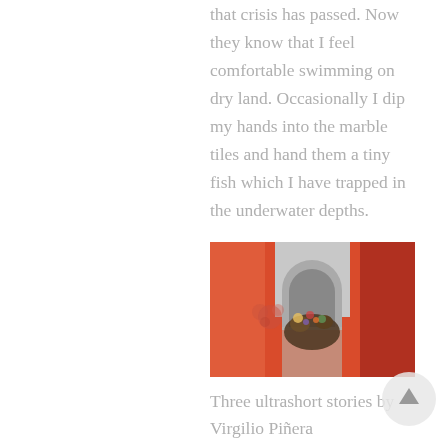that crisis has passed. Now they know that I feel comfortable swimming on dry land. Occasionally I dip my hands into the marble tiles and hand them a tiny fish which I have trapped in the underwater depths.
[Figure (photo): Photo of a corridor or hallway with vivid red/orange walls, an arched doorway in the background, and a bouquet of dried or colorful flowers/plants placed in the center of the passageway.]
Three ultrashort stories by Virgilio Piñera